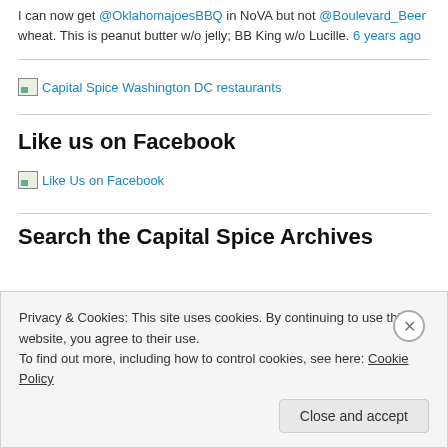I can now get @OklahomajoesBBQ in NoVA but not @Boulevard_Beer wheat. This is peanut butter w/o jelly; BB King w/o Lucille. 6 years ago
[Figure (screenshot): Broken image placeholder with alt text: Capital Spice Washington DC restaurants]
Like us on Facebook
[Figure (screenshot): Broken image placeholder with alt text: Like Us on Facebook]
Search the Capital Spice Archives
Privacy & Cookies: This site uses cookies. By continuing to use this website, you agree to their use. To find out more, including how to control cookies, see here: Cookie Policy
Close and accept